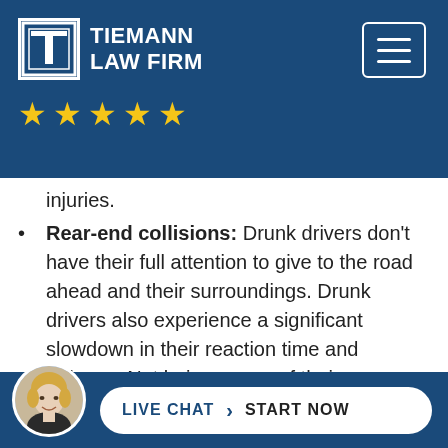TIEMANN LAW FIRM ★★★★★
injuries.
Rear-end collisions: Drunk drivers don't have their full attention to give to the road ahead and their surroundings. Drunk drivers also experience a significant slowdown in their reaction time and reflexes. Not being aware of their surroundings and then being unable to respond quickly enough to a change in driving circumstances means that rear-end accidents are a serious consequence of driving while intoxicated.
Pedestrian/Bicycle Accidents: Many drunk
[Figure (other): Live chat button with attorney avatar photo and 'LIVE CHAT > START NOW' call to action pill on dark blue bar]